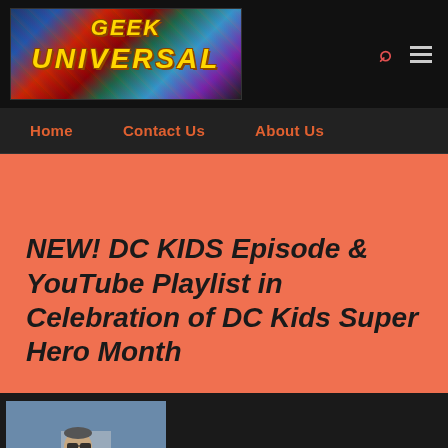[Figure (logo): Geek Universal website logo with colorful comic book background and yellow text]
Home  Contact Us  About Us
NEW! DC KIDS Episode & YouTube Playlist in Celebration of DC Kids Super Hero Month
[Figure (photo): Author photo: man standing with arms crossed outdoors in front of buildings]
By welshslider · April 22, 2017